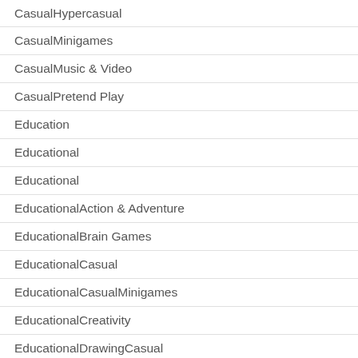CasualHypercasual
CasualMinigames
CasualMusic & Video
CasualPretend Play
Education
Educational
Educational
EducationalAction & Adventure
EducationalBrain Games
EducationalCasual
EducationalCasualMinigames
EducationalCreativity
EducationalDrawingCasual